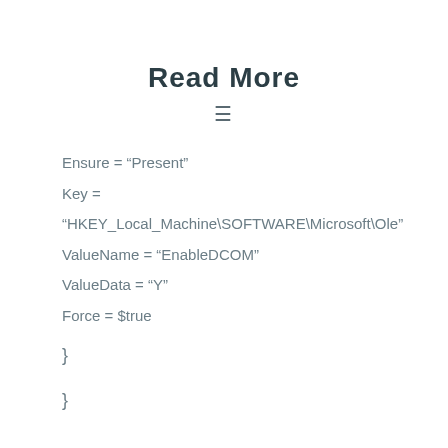Read More
≡
Ensure = "Present"
Key =
"HKEY_Local_Machine\SOFTWARE\Microsoft\Ole"
ValueName = "EnableDCOM"
ValueData = "Y"
Force = $true
}
}